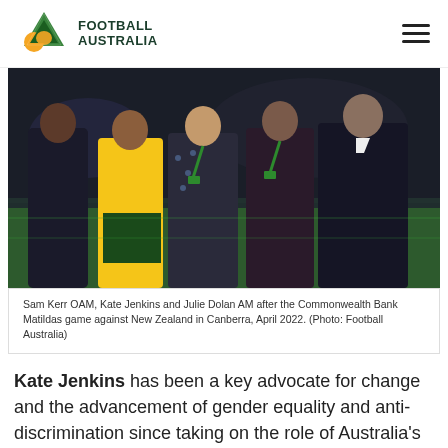FOOTBALL AUSTRALIA
[Figure (photo): Group photo of five people standing on a football pitch at night. A player in a yellow Matildas jersey is second from left, flanked by others in casual and smart casual attire, some wearing green lanyards.]
Sam Kerr OAM, Kate Jenkins and Julie Dolan AM after the Commonwealth Bank Matildas game against New Zealand in Canberra, April 2022. (Photo: Football Australia)
Kate Jenkins has been a key advocate for change and the advancement of gender equality and anti-discrimination since taking on the role of Australia's Sex Discrimination Commissioner in 2016. As part of her